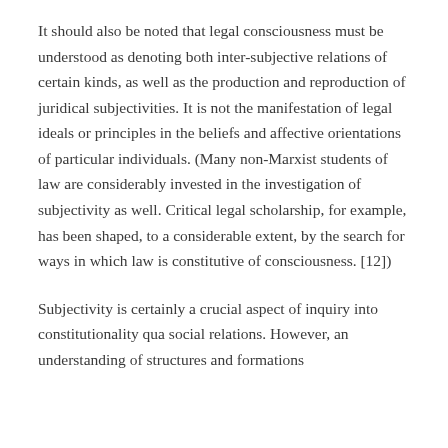It should also be noted that legal consciousness must be understood as denoting both inter-subjective relations of certain kinds, as well as the production and reproduction of juridical subjectivities. It is not the manifestation of legal ideals or principles in the beliefs and affective orientations of particular individuals. (Many non-Marxist students of law are considerably invested in the investigation of subjectivity as well. Critical legal scholarship, for example, has been shaped, to a considerable extent, by the search for ways in which law is constitutive of consciousness. [12])
Subjectivity is certainly a crucial aspect of inquiry into constitutionality qua social relations. However, an understanding of structures and formations...